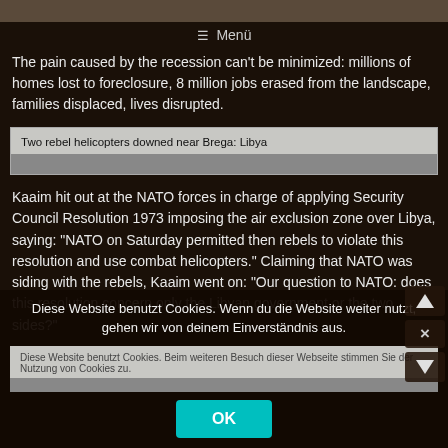≡ Menü
The pain caused by the recession can't be minimized: millions of homes lost to foreclosure, 8 million jobs erased from the landscape, families displaced, lives disrupted.
[Figure (screenshot): News headline box: 'Two rebel helicopters downed near Brega: Libya']
Kaaim hit out at the NATO forces in charge of applying Security Council Resolution 1973 imposing the air exclusion zone over Libya, saying: "NATO on Saturday permitted then rebels to violate this resolution and use combat helicopters." Claiming that NATO was siding with the rebels, Kaaim went on: "Our question to NATO: does this resolution concern only the Libyan government or the two sides?"
Diese Website benutzt Cookies. Wenn du die Website weiter nutzt, gehen wir von deinem Einverständnis aus.
[Figure (screenshot): Cookie consent overlay with OK button and navigation arrows]